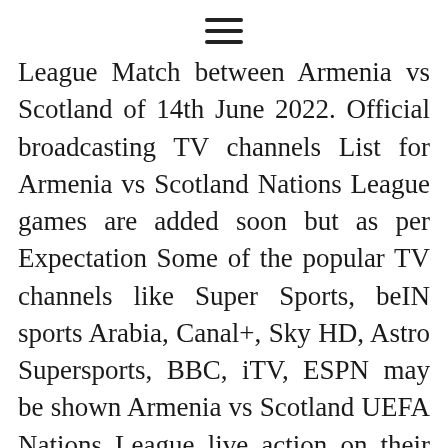≡
League Match between Armenia vs Scotland of 14th June 2022. Official broadcasting TV channels List for Armenia vs Scotland Nations League games are added soon but as per Expectation Some of the popular TV channels like Super Sports, beIN sports Arabia, Canal+, Sky HD, Astro Supersports, BBC, iTV, ESPN may be shown Armenia vs Scotland UEFA Nations League live action on their channel. Stay tune here for more information about free live online streaming of Armenia vs Scotland